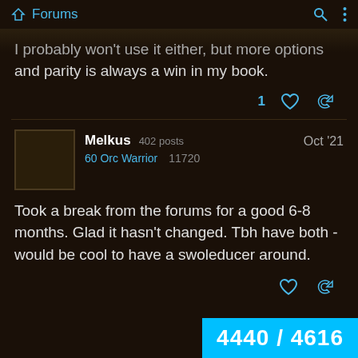Forums
I probably won't use it either, but more options and parity is always a win in my book.
Melkus  402 posts  60 Orc Warrior  11720  Oct '21
Took a break from the forums for a good 6-8 months. Glad it hasn't changed. Tbh have both - would be cool to have a swoleducer around.
4440 / 4616